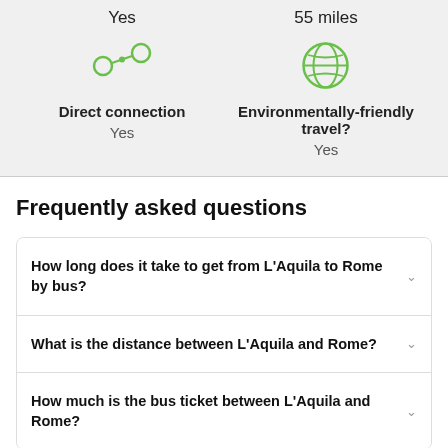Yes
55 miles
[Figure (illustration): Green icon of connected nodes (direct connection symbol)]
Direct connection
Yes
[Figure (illustration): Green globe/earth icon (environmentally-friendly travel symbol)]
Environmentally-friendly travel?
Yes
Frequently asked questions
How long does it take to get from L'Aquila to Rome by bus?
What is the distance between L'Aquila and Rome?
How much is the bus ticket between L'Aquila and Rome?